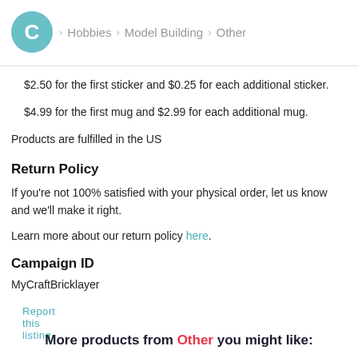C > Hobbies > Model Building > Other
$2.50 for the first sticker and $0.25 for each additional sticker.
$4.99 for the first mug and $2.99 for each additional mug.
Products are fulfilled in the US
Return Policy
If you're not 100% satisfied with your physical order, let us know and we'll make it right.
Learn more about our return policy here.
Campaign ID
MyCraftBricklayer
Report this listing
More products from Other you might like: